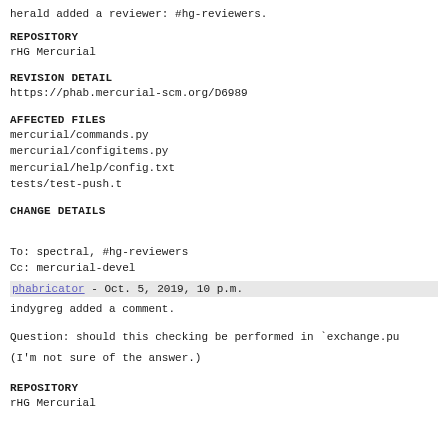herald added a reviewer: #hg-reviewers.
REPOSITORY
rHG Mercurial
REVISION DETAIL
https://phab.mercurial-scm.org/D6989
AFFECTED FILES
mercurial/commands.py
mercurial/configitems.py
mercurial/help/config.txt
tests/test-push.t
CHANGE DETAILS
To: spectral, #hg-reviewers
Cc: mercurial-devel
phabricator - Oct. 5, 2019, 10 p.m.
indygreg added a comment.
Question: should this checking be performed in `exchange.pu
(I'm not sure of the answer.)
REPOSITORY
rHG Mercurial